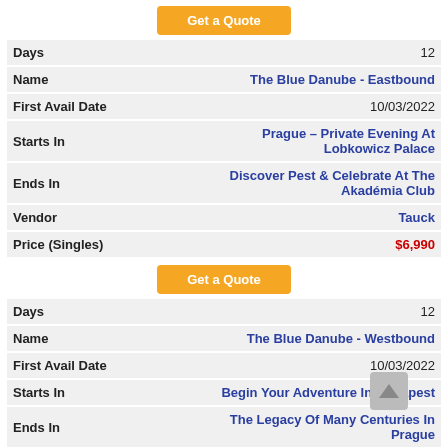| Field | Value |
| --- | --- |
| Days | 12 |
| Name | The Blue Danube - Eastbound |
| First Avail Date | 10/03/2022 |
| Starts In | Prague – Private Evening At Lobkowicz Palace |
| Ends In | Discover Pest & Celebrate At The Akadémia Club |
| Vendor | Tauck |
| Price (Singles) | $6,990 |
| Field | Value |
| --- | --- |
| Days | 12 |
| Name | The Blue Danube - Westbound |
| First Avail Date | 10/03/2022 |
| Starts In | Begin Your Adventure In Budapest |
| Ends In | The Legacy Of Many Centuries In Prague |
| Vendor | Tauck |
| Price (Singles) | $6,990 |
| Field | Value |
| --- | --- |
| Days | 7 |
| Name | The Blue Danube - Ms Emily Brontë |
| First Avail Date | 10/03/2022 |
| Starts In | Embark In Budapest |
| Ends In | Disembark In Budapest |
| Vendor | Riviera |